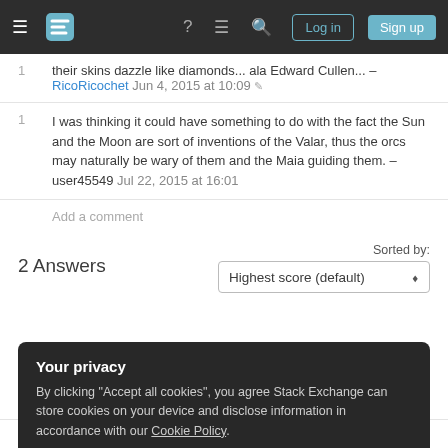Stack Exchange navigation bar with Log in and Sign up buttons
their skins dazzle like diamonds... ala Edward Cullen... – RicoRicochet Jun 4, 2015 at 10:09
1  I was thinking it could have something to do with the fact the Sun and the Moon are sort of inventions of the Valar, thus the orcs may naturally be wary of them and the Maia guiding them. – user45549 Jul 22, 2015 at 16:01
Add a comment
2 Answers
Sorted by: Highest score (default)
Your privacy
By clicking "Accept all cookies", you agree Stack Exchange can store cookies on your device and disclose information in accordance with our Cookie Policy.
Accept all cookies  Customize settings
who entered there. Many times throughout the